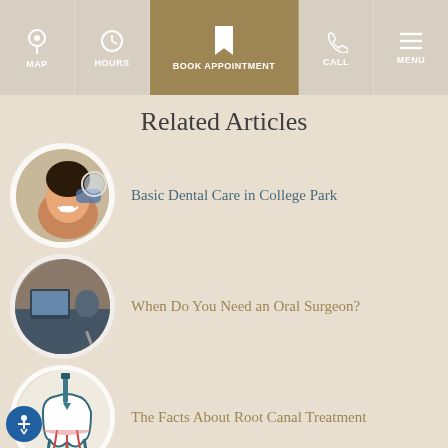MAP | HOURS | BOOK APPOINTMENT | CALL | MENU
Related Articles
Basic Dental Care in College Park
When Do You Need an Oral Surgeon?
The Facts About Root Canal Treatment